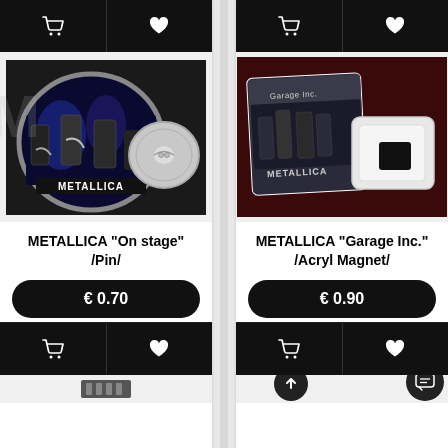[Figure (photo): Metallica On Stage pin badge product photo showing front and back of circular pin]
METALLICA "On stage" /Pin/
€ 0.70
[Figure (photo): Metallica Garage Inc. acrylic magnet product photo showing album art magnet front and back]
METALLICA "Garage Inc." /Acryl Magnet/
€ 0.90